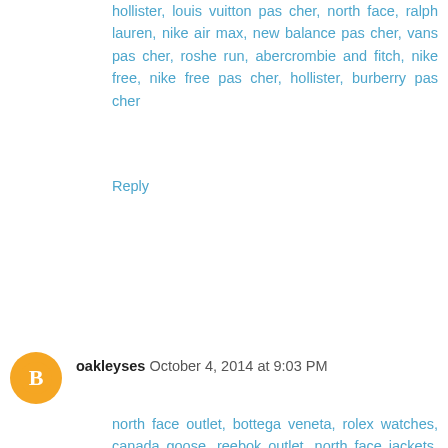hollister, louis vuitton pas cher, north face, ralph lauren, nike air max, new balance pas cher, vans pas cher, roshe run, abercrombie and fitch, nike free, nike free pas cher, hollister, burberry pas cher
Reply
oakleyses October 4, 2014 at 9:03 PM
north face outlet, bottega veneta, rolex watches, canada goose, reebok outlet, north face jackets, moncler outlet, beats headphones, ugg boots, nfl jerseys, marc jacobs outlet, chi flat iron, canada goose uk, babyliss pro, insanity workout, timberland shoes, birkin bag, canada goose pas cher, giuseppe zanotti, lululemon outlet, jimmy choo shoes, soccer jerseys, canada goose outlet, new balance outlet, asics shoes, canada goose outlet, celine handbags, moncler, ugg outlet, moncler, mont blanc pens, instyler ionic styler, iphone 6 case, hollister clothing, ghd, p90x workout, ugg soldes, soccer shoes, uggs on sale, nike air max, herve leger, wedding dresses, canada goose outlet, baseball bats, mcm handbags, moncler, ferragamo shoes,